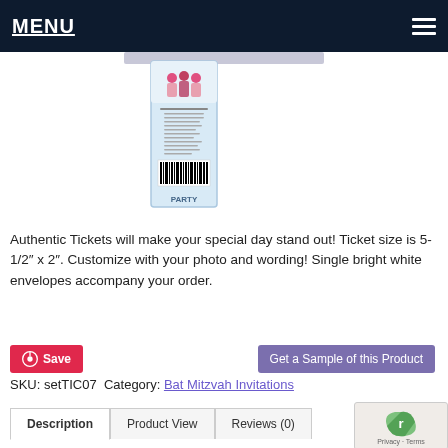MENU
[Figure (photo): Thumbnail of a ticket-style Bat Mitzvah party invitation, narrow vertical ticket with decorative top, barcode, and text]
Authentic Tickets will make your special day stand out! Ticket size is 5-1/2″ x 2″. Customize with your photo and wording! Single bright white envelopes accompany your order.
Save
Get a Sample of this Product
SKU: setTIC07  Category: Bat Mitzvah Invitations
Description	Product View	Reviews (0)